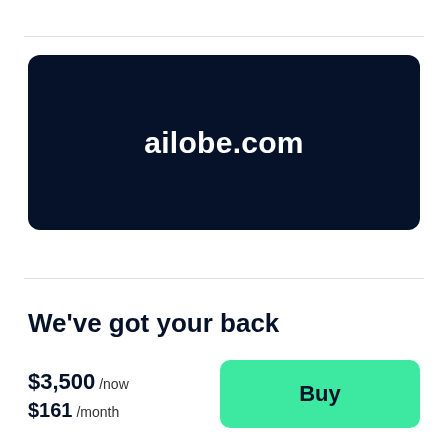[Figure (other): Dark navy rounded rectangle banner displaying the domain name 'ailobe.com' in white bold text]
We've got your back
$3,500 /now
$161 /month
Buy